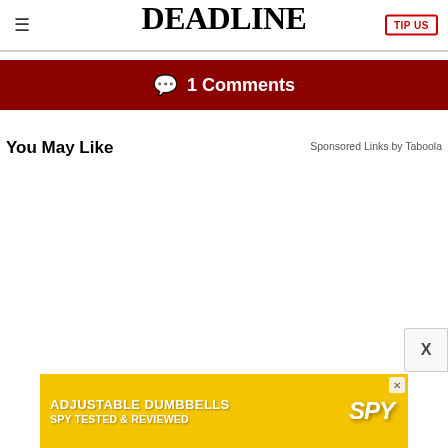DEADLINE
1 Comments
You May Like
Sponsored Links by Taboola
[Figure (other): Advertisement banner for Adjustable Dumbbells - Spy Tested & Reviewed, yellow background with SPY logo]